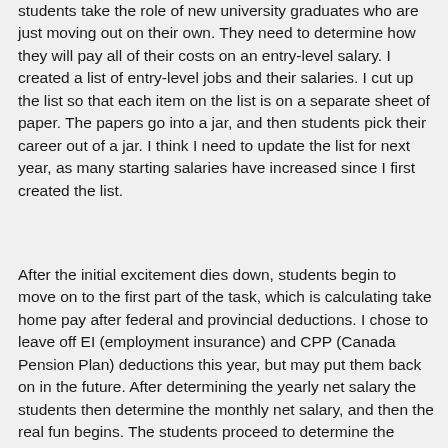students take the role of new university graduates who are just moving out on their own. They need to determine how they will pay all of their costs on an entry-level salary. I created a list of entry-level jobs and their salaries. I cut up the list so that each item on the list is on a separate sheet of paper. The papers go into a jar, and then students pick their career out of a jar. I think I need to update the list for next year, as many starting salaries have increased since I first created the list.
After the initial excitement dies down, students begin to move on to the first part of the task, which is calculating take home pay after federal and provincial deductions. I chose to leave off EI (employment insurance) and CPP (Canada Pension Plan) deductions this year, but may put them back on in the future. After determining the yearly net salary the students then determine the monthly net salary, and then the real fun begins. The students proceed to determine the various costs that they will have, including food, housing, utilities,